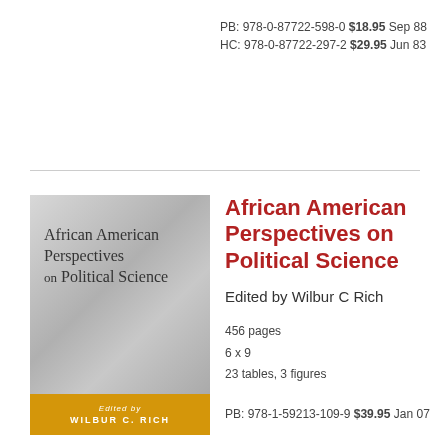PB: 978-0-87722-598-0 $18.95 Sep 88
HC: 978-0-87722-297-2 $29.95 Jun 83
[Figure (illustration): Book cover for African American Perspectives on Political Science, edited by Wilbur C. Rich. Gray textured background with orange/yellow footer band.]
African American Perspectives on Political Science
Edited by Wilbur C Rich
456 pages
6 x 9
23 tables, 3 figures
PB: 978-1-59213-109-9 $39.95 Jan 07